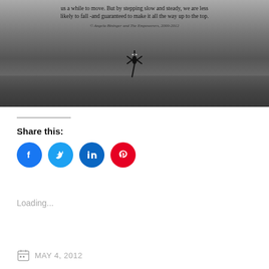[Figure (photo): Black and white photograph of a lizard/gecko on a stone ledge. Overlaid text reads: 'us a while to move. But by stepping slow and steady, we are less likely to fall -and guaranteed to make it all the way up to the top.' Copyright line: '© Angela Bininger and The Empowerers, 2009-2012']
Share this:
Loading...
MAY 4, 2012